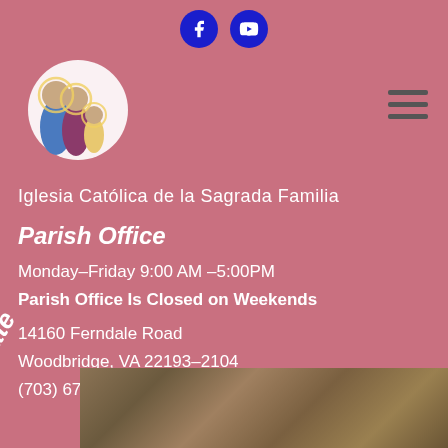[Figure (logo): Two circular social media icons (Facebook and YouTube) in blue circles at top center]
[Figure (logo): Religious illustration of the Holy Family - figures of Joseph, Mary and baby Jesus with halos]
[Figure (other): Hamburger/menu icon (three horizontal bars) in the upper right]
Iglesia Católica de la Sagrada Familia
Parish Office
Monday–Friday 9:00 AM –5:00PM
Parish Office Is Closed on Weekends
14160 Ferndale Road
Woodbridge, VA 22193–2104
(703) 670–8161
Donate
[Figure (photo): Aerial photograph of church grounds and surrounding area]